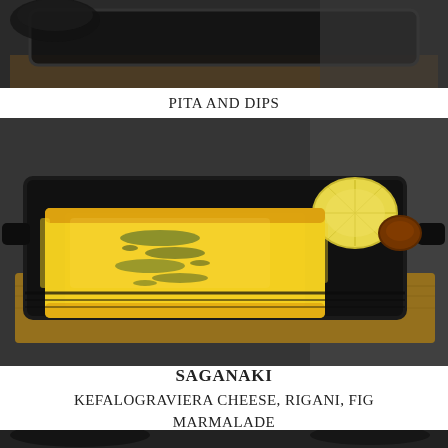[Figure (photo): Top portion of a food photo showing a dark skillet/pan on a wooden board, partially cropped at the top of the page]
PITA AND DIPS
[Figure (photo): A saganaki dish - pan-fried golden melted cheese (kefalograviera) sprinkled with dried rigani (oregano) served in a black cast iron skillet on a wooden board, with a lemon half and fig marmalade on the side, set against a dark stone background]
SAGANAKI
KEFALOGRAVIERA CHEESE, RIGANI, FIG MARMALADE
[Figure (photo): Bottom portion of another food photo, partially cropped at the bottom of the page, showing a dark pan/dish]